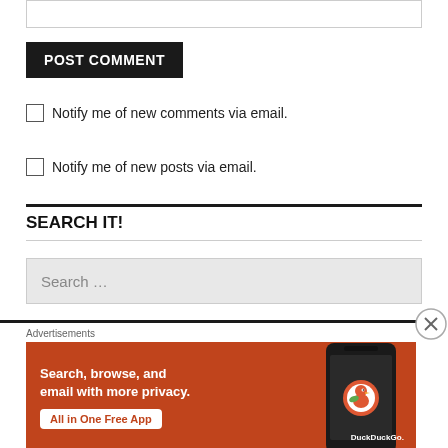[Figure (screenshot): Top portion of a comment input box, partially visible at the top of the page]
POST COMMENT
Notify me of new comments via email.
Notify me of new posts via email.
SEARCH IT!
[Figure (screenshot): Search input box with placeholder text 'Search ...']
[Figure (screenshot): Advertisements section: DuckDuckGo ad banner with orange background reading 'Search, browse, and email with more privacy. All in One Free App' with DuckDuckGo logo and phone graphic]